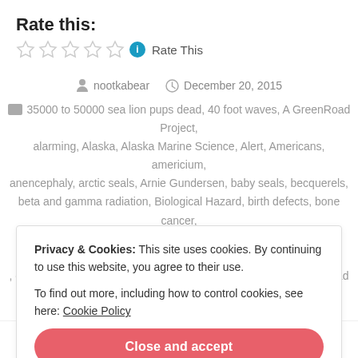Rate this:
★ ★ ★ ★ ★  ℹ  Rate This
nootkabear  December 20, 2015
35000 to 50000 sea lion pups dead, 40 foot waves, A GreenRoad Project, alarming, Alaska, Alaska Marine Science, Alert, Americans, americium, anencephaly, arctic seals, Arnie Gundersen, baby seals, becquerels, beta and gamma radiation, Biological Hazard, birth defects, bone cancer, California to Alaska, cancer, catastrophic, censorship, cesium, Chernobyl, children, cobalt, contamination, corruption, criminal, Danger, dead fish, Dead Zone,
Privacy & Cookies: This site uses cookies. By continuing to use this website, you agree to their use.
To find out more, including how to control cookies, see here: Cookie Policy
Close and accept
mammals, marine mammals, Massacre, murdering, mutant fish, mutations,